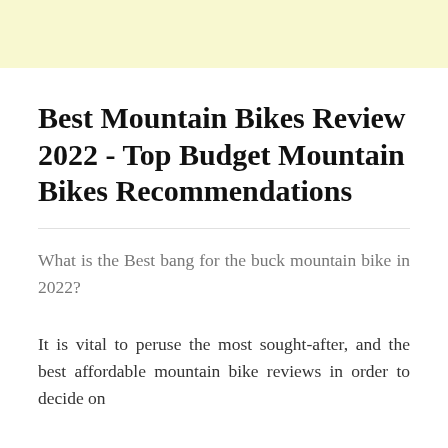Best Mountain Bikes Review 2022 - Top Budget Mountain Bikes Recommendations
What is the Best bang for the buck mountain bike in 2022?
It is vital to peruse the most sought-after, and the best affordable mountain bike reviews in order to decide on